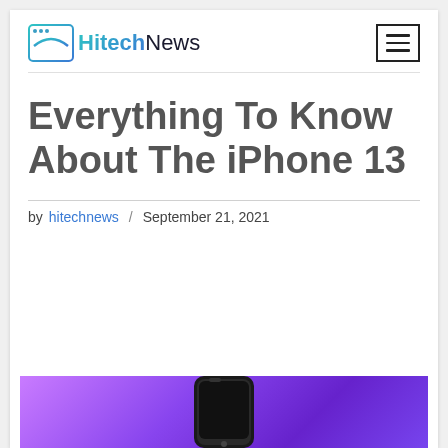HitechNews
Everything To Know About The iPhone 13
by hitechnews / September 21, 2021
[Figure (photo): Purple gradient banner image showing the bottom portion of an iPhone 13, partially visible at the bottom of the page]